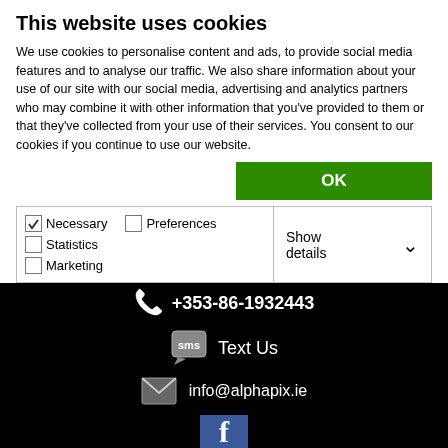This website uses cookies
We use cookies to personalise content and ads, to provide social media features and to analyse our traffic. We also share information about your use of our site with our social media, advertising and analytics partners who may combine it with other information that you've provided to them or that they've collected from your use of their services. You consent to our cookies if you continue to use our website.
OK
Necessary  Preferences  Statistics  Marketing  Show details
I took advantage of an ongoing discount for the
+353-86-1932443
Text Us
info@alphapix.ie
[Figure (logo): Facebook logo icon - blue square with white f letter]